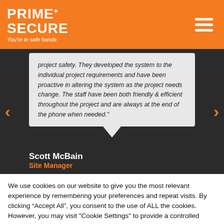[Figure (logo): Prime Secure logo — orange background with white text 'PRIME+ SECURE' and tagline 'You're in safe hands', hamburger menu icon on right]
project safety. They developed the system to the individual project requirements and have been proactive in altering the system as the project needs change. The staff have been both friendly & efficient throughout the project and are always at the end of the phone when needed."
Scott McBain
Site Manager
We use cookies on our website to give you the most relevant experience by remembering your preferences and repeat visits. By clicking “Accept All”, you consent to the use of ALL the cookies. However, you may visit "Cookie Settings" to provide a controlled consent.